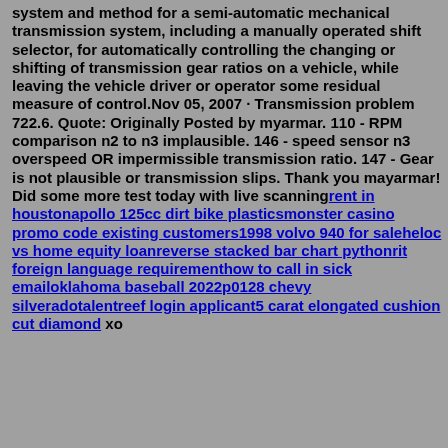system and method for a semi-automatic mechanical transmission system, including a manually operated shift selector, for automatically controlling the changing or shifting of transmission gear ratios on a vehicle, while leaving the vehicle driver or operator some residual measure of control.Nov 05, 2007 · Transmission problem 722.6. Quote: Originally Posted by myarmar. 110 - RPM comparison n2 to n3 implausible. 146 - speed sensor n3 overspeed OR impermissible transmission ratio. 147 - Gear is not plausible or transmission slips. Thank you mayarmar! Did some more test today with live scanning rent in houstonapollo 125cc dirt bike plasticsmonster casino promo code existing customers1998 volvo 940 for saleheloc vs home equity loanreverse stacked bar chart pythonrit foreign language requirementhow to call in sick emailoklahoma baseball 2022p0128 chevy silveradotalentreef login applicant5 carat elongated cushion cut diamond xo